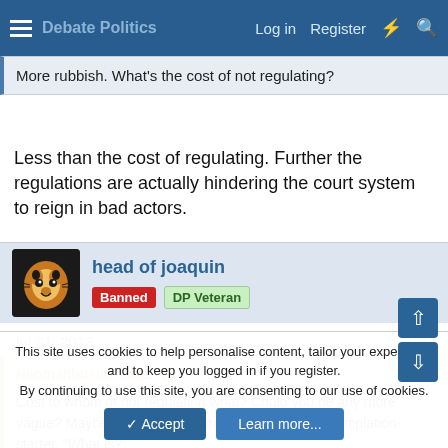Log in   Register
More rubbish. What's the cost of not regulating?
Less than the cost of regulating. Further the regulations are actually hindering the court system to reign in bad actors.
head of joaquin
Banned   DP Veteran
Jul 31, 2013   #7
Neomalthusian said:
Cost to whom of not regulating what? Could you be any more vague? Maybe you could ask the philosophical contemplation-starter, "What is?"
This site uses cookies to help personalise content, tailor your experience and to keep you logged in if you register.
By continuing to use this site, you are consenting to our use of cookies.
Accept   Learn more...